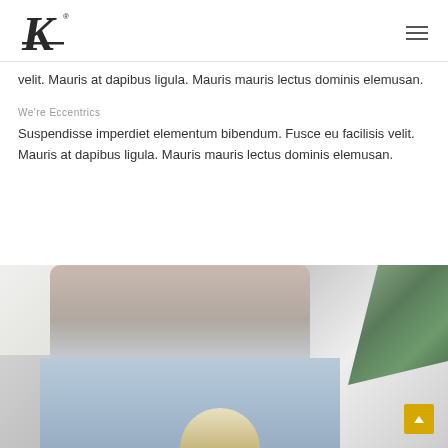B® [logo] [hamburger menu]
velit. Mauris at dapibus ligula. Mauris mauris lectus dominis elemusan.
We're Eccentrics
Suspendisse imperdiet elementum bibendum. Fusce eu facilisis velit. Mauris at dapibus ligula. Mauris mauris lectus dominis elemusan.
[Figure (photo): A person sitting on a couch wearing a light grey sweater and jeans, holding a bowl of popcorn, with a monstera plant in the background]